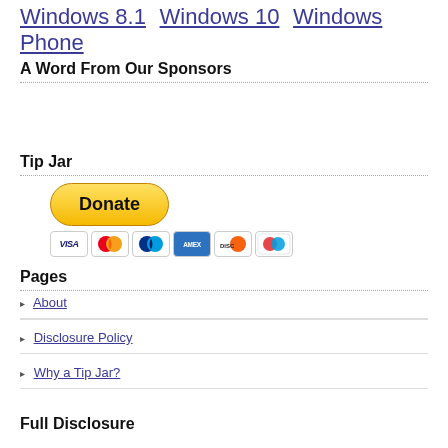Windows 8.1  Windows 10  Windows Phone
A Word From Our Sponsors
Tip Jar
[Figure (other): PayPal Donate button with payment card icons below (Visa, Mastercard, PayPal, Amex, Discover, Maestro)]
Pages
About
Disclosure Policy
Why a Tip Jar?
Full Disclosure